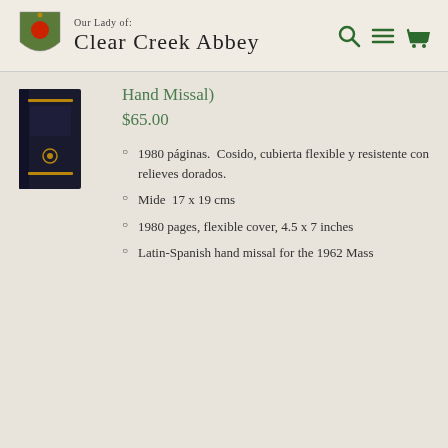Our Lady of: Clear Creek Abbey
[Figure (photo): Dark hardcover book standing upright]
Hand Missal)
$65.00
1980 páginas.  Cosido, cubierta flexible y resistente con relieves dorados.
Mide  17 x 19 cms
1980 pages, flexible cover, 4.5 x 7 inches
Latin-Spanish hand missal for the 1962 Mass